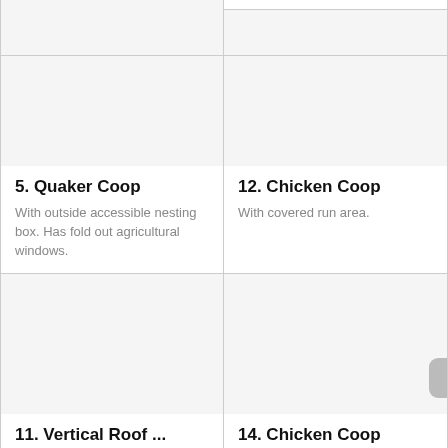[Figure (other): Top-left card image placeholder (partial, cropped at top of page) for item 5 Quaker Coop]
[Figure (other): Top-right card image placeholder (partial, cropped at top of page) for item 12 Chicken Coop]
5. Quaker Coop
With outside accessible nesting box. Has fold out agricultural windows.
12. Chicken Coop
With covered run area.
[Figure (other): Middle-left card image placeholder for item 11 Vertical Roof...]
[Figure (other): Middle-right card image placeholder for item 14 Chicken Coop]
11. Vertical Roof ...
With run
14. Chicken Coop
With screen door